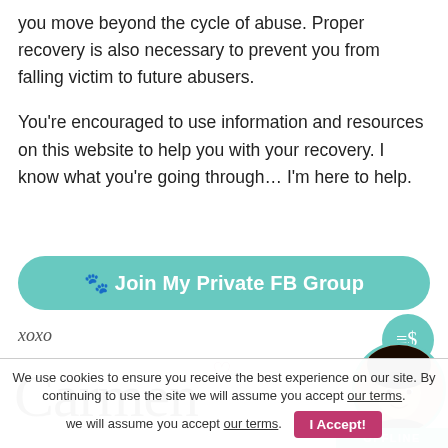you move beyond the cycle of abuse. Proper recovery is also necessary to prevent you from falling victim to future abusers.
You're encouraged to use information and resources on this website to help you with your recovery. I know what you're going through… I'm here to help.
🐾 Join My Private FB Group
xoxo
[Figure (illustration): Cursive signature reading 'Carmen' with a small heart]
[Figure (photo): Circular avatar photo of a young woman with dark hair and bangs, smiling]
OFFLINE
Chat
We use cookies to ensure you receive the best experience on our site. By continuing to use the site we will assume you accept our terms.
I Accept!